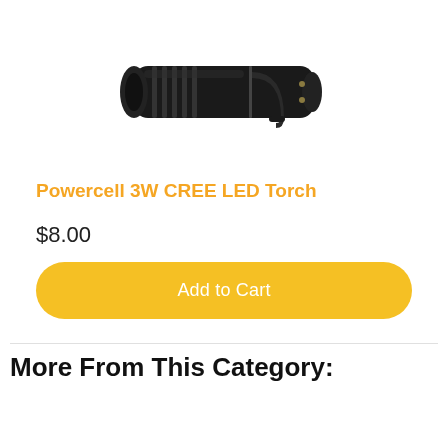[Figure (photo): A black compact LED flashlight/torch shown horizontally against a white background]
Powercell 3W CREE LED Torch
$8.00
Add to Cart
More From This Category: